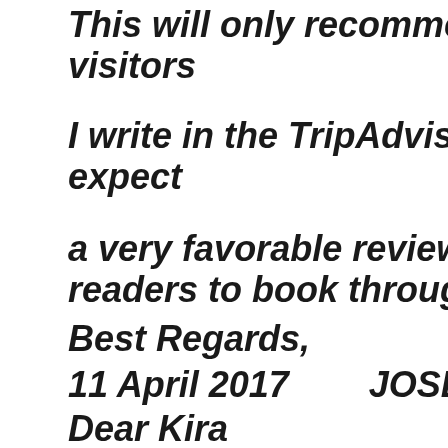This will only recommend you f visitors
I write in the TripAdvisor and yo expect
a very favorable review and inc readers to book through your s
Best Regards,
11 April 2017        JOSE, Brazil
Dear Kira